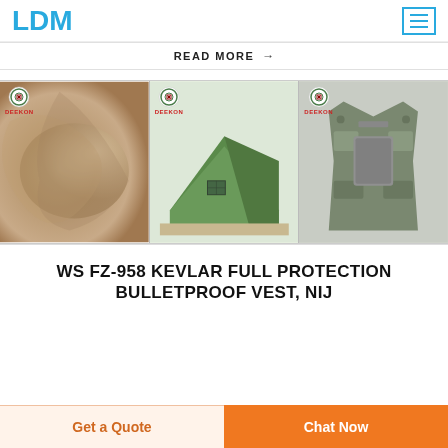LDM
READ MORE →
[Figure (photo): Three product images with DEEKON branding: desert camouflage fabric, green military tent, and camouflage bulletproof vest]
WS FZ-958 KEVLAR FULL PROTECTION BULLETPROOF VEST, NIJ
Get a Quote
Chat Now